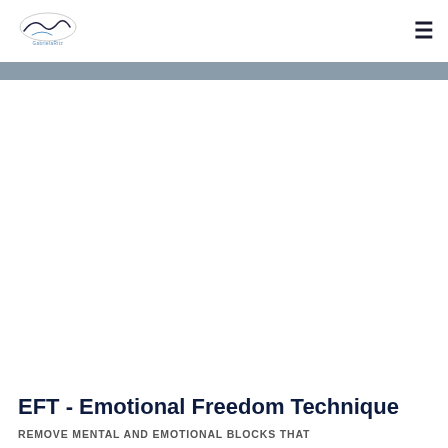GabrielaRitz logo and hamburger menu
[Figure (other): Gray decorative horizontal bar below header]
[Figure (photo): Large hero image area (white/empty in this view) for EFT page]
EFT - Emotional Freedom Technique
REMOVE MENTAL AND EMOTIONAL BLOCKS THAT